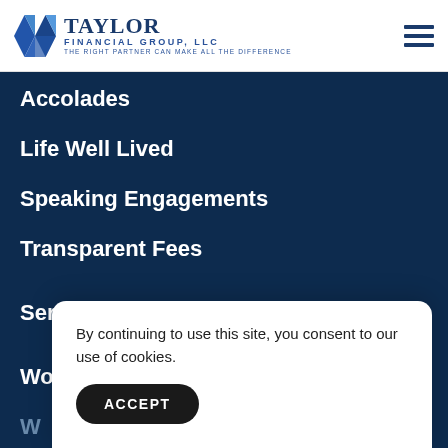Taylor Financial Group, LLC — The Right Partner Can Make All the Difference
Accolades
Life Well Lived
Speaking Engagements
Transparent Fees
Services
Women & Investing
By continuing to use this site, you consent to our use of cookies.
ACCEPT